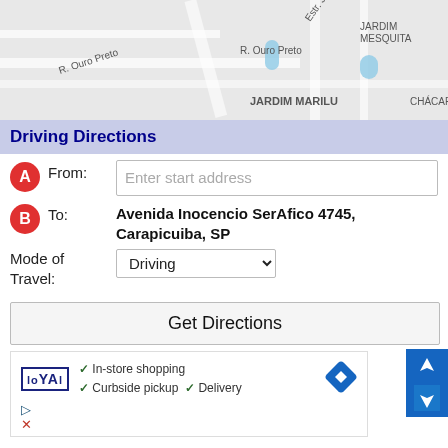[Figure (map): Street map showing area with R. Ouro Preto, Estr. João Fasoli, Jardim Marilu, Jardim Mesquita, Chácar labels]
Driving Directions
From: [Enter start address input field]
To: Avenida Inocencio SerAfico 4745, Carapicuiba, SP
Mode of Travel: Driving
Get Directions
[Figure (screenshot): Navigation icon with up and down arrows on blue background]
[Figure (screenshot): Advertisement box: Loyal logo, In-store shopping, Curbside pickup, Delivery checkmarks, navigation diamond icon]